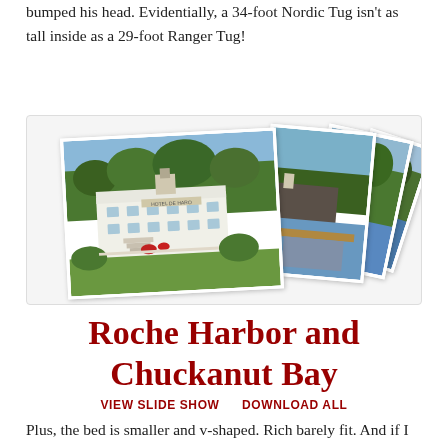bumped his head. Evidentially, a 34-foot Nordic Tug isn't as tall inside as a 29-foot Ranger Tug!
[Figure (photo): A collage of fanned-out photos showing Roche Harbor and surrounding scenery, including a white building labeled Hotel de Haro with trees and docks.]
Roche Harbor and Chuckanut Bay
VIEW SLIDE SHOW   DOWNLOAD ALL
Plus, the bed is smaller and v-shaped. Rich barely fit. And if I was in the bed with him, I'd need to sleep in a